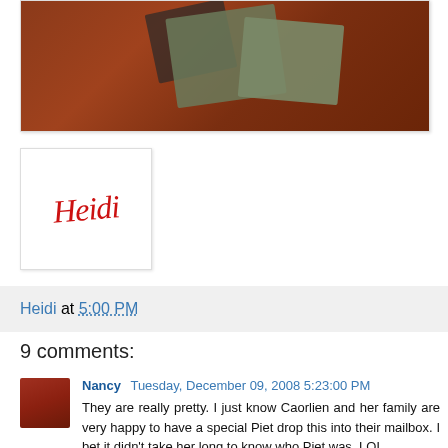[Figure (photo): Photo of decorative cards or envelopes on a wooden surface with reddish-brown tones.]
[Figure (photo): Signature image showing cursive red script reading 'Heidi' on white background.]
Heidi at 5:00 PM
9 comments:
Nancy  Tuesday, December 09, 2008 5:23:00 PM
They are really pretty. I just know Caorlien and her family are very happy to have a special Piet drop this into their mailbox. I bet it didn't take her long to know who Piet was. LOL.
Love Mom